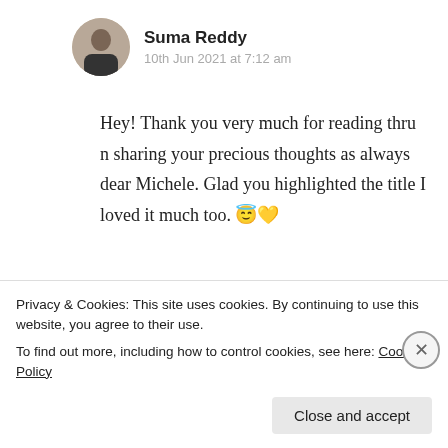Suma Reddy
10th Jun 2021 at 7:12 am
Hey! Thank you very much for reading thru n sharing your precious thoughts as always dear Michele. Glad you highlighted the title I loved it much too. 😇💛
★ Liked by 1 person
Log in to Reply
Privacy & Cookies: This site uses cookies. By continuing to use this website, you agree to their use.
To find out more, including how to control cookies, see here: Cookie Policy
Close and accept